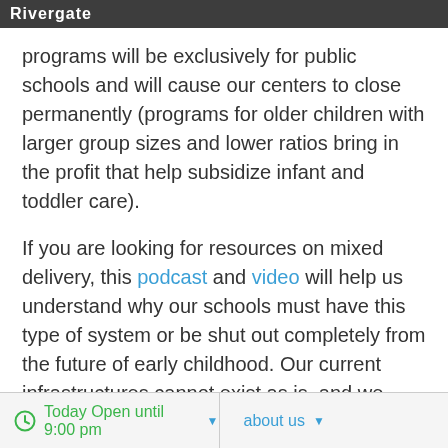Rivergate
programs will be exclusively for public schools and will cause our centers to close permanently (programs for older children with larger group sizes and lower ratios bring in the profit that help subsidize infant and toddler care).
If you are looking for resources on mixed delivery, this podcast and video will help us understand why our schools must have this type of system or be shut out completely from the future of early childhood. Our current infrastructures cannot exist as is, and we need to be part of this change.
Today Open until 9:00 pm   about us